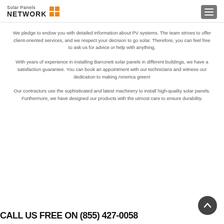Solar Panels NETWORK
We pledge to endow you with detailed information about PV systems. The team strives to offer client-oriented services, and we respect your decision to go solar. Therefore, you can feel free to ask us for advice or help with anything.
With years of experience in installing Barronett solar panels in different buildings, we have a satisfaction guarantee. You can book an appointment with our technicians and witness our dedication to making America green!
Our contractors use the sophisticated and latest machinery to install high-quality solar panels. Furthermore, we have designed our products with the utmost care to ensure durability.
CALL US FREE ON (855) 427-0058